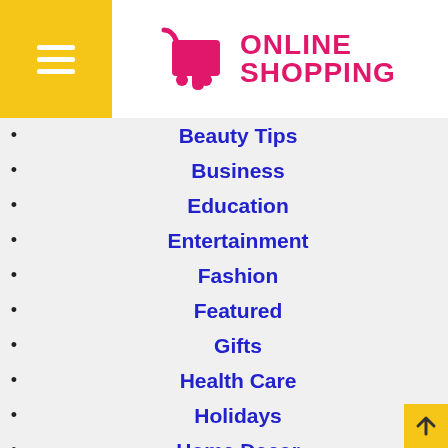[Figure (logo): Online Shopping logo with pink shopping cart icon and pink bold text ONLINE SHOPPING on white background with yellow hamburger menu box on left]
Beauty Tips
Business
Education
Entertainment
Fashion
Featured
Gifts
Health Care
Holidays
Home Decor
Life Style
Mobile Phone
Photography
Shopping